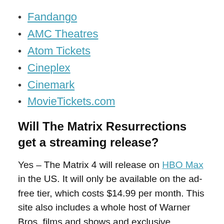Fandango
AMC Theatres
Atom Tickets
Cineplex
Cinemark
MovieTickets.com
Will The Matrix Resurrections get a streaming release?
Yes – The Matrix 4 will release on HBO Max in the US. It will only be available on the ad-free tier, which costs $14.99 per month. This site also includes a whole host of Warner Bros. films and shows and exclusive specials such as the Friends Reunion.